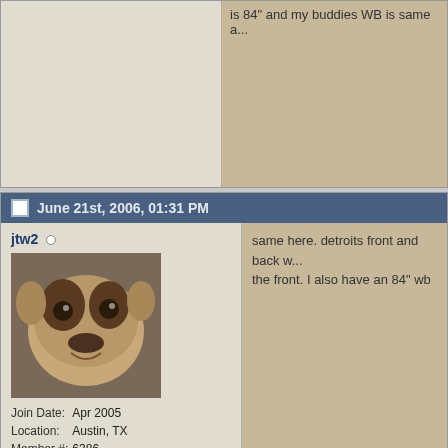is 84" and my buddies WB is same a...
June 21st, 2006, 01:31 PM
jtw2
[Figure (photo): Avatar photo of a bulldog]
| Join Date: | Apr 2005 |
| Location: | Austin, TX |
| Member #: | 6386 |
| Images: | 177 |
same here. detroits front and back w... the front. I also have an 84" wb
June 21st, 2006, 02:50 PM
zukatude
| Join Date: | Jul 2005 |
| Location: | Windsor... |
Originally Posted by jtw2
same here. detroits front and... 36" lbs/in on the front. I also...